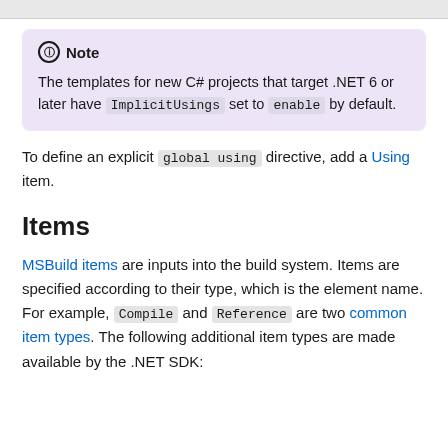Note: The templates for new C# projects that target .NET 6 or later have ImplicitUsings set to enable by default.
To define an explicit global using directive, add a Using item.
Items
MSBuild items are inputs into the build system. Items are specified according to their type, which is the element name. For example, Compile and Reference are two common item types. The following additional item types are made available by the .NET SDK: